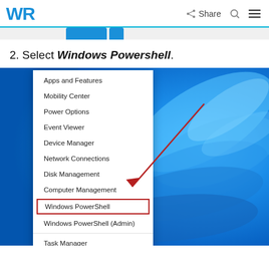WR | Share
2. Select Windows Powershell.
[Figure (screenshot): Windows 11 right-click context menu showing options including Apps and Features, Mobility Center, Power Options, Event Viewer, Device Manager, Network Connections, Disk Management, Computer Management, Windows PowerShell (highlighted with red box and arrow), Windows PowerShell (Admin), Task Manager, Settings, File Explorer, on a Windows 11 desktop background with blue swirl wallpaper.]